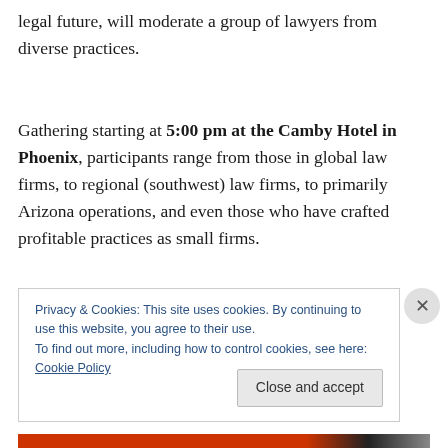legal future, will moderate a group of lawyers from diverse practices.
Gathering starting at 5:00 pm at the Camby Hotel in Phoenix, participants range from those in global law firms, to regional (southwest) law firms, to primarily Arizona operations, and even those who have crafted profitable practices as small firms.
Privacy & Cookies: This site uses cookies. By continuing to use this website, you agree to their use.
To find out more, including how to control cookies, see here: Cookie Policy